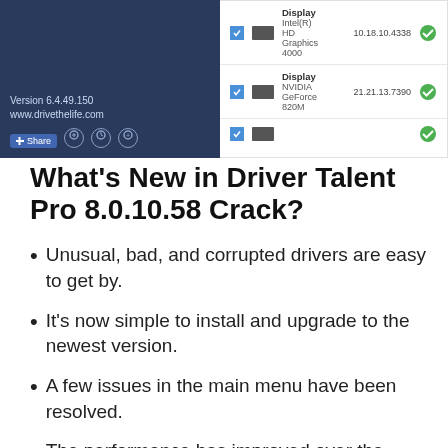[Figure (screenshot): Screenshot of Driver Talent Pro application showing driver list with Intel HD Graphics 4000 and NVIDIA GeForce 820M entries, version 6.4.49.150, www.drivethelife.com, share buttons]
What's New in Driver Talent Pro 8.0.10.58 Crack?
Unusual, bad, and corrupted drivers are easy to get by.
It's now simple to install and upgrade to the newest version.
A few issues in the main menu have been resolved.
The performance has improved over the previous edition.
In addition, driver Talent Pro Crack has a deep